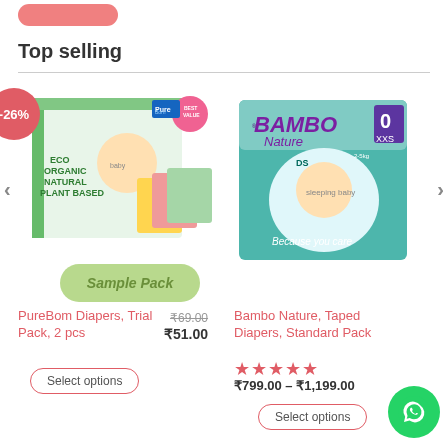Top selling
[Figure (photo): PureBom eco organic natural plant-based diapers trial pack with sample pack badge and -26% discount badge]
PureBom Diapers, Trial Pack, 2 pcs
₹69.00 ₹51.00
Select options
[Figure (photo): Bambo Nature Taped Diapers Standard Pack, size 0 XXS, with sleeping baby on teal/mint packaging]
Bambo Nature, Taped Diapers, Standard Pack
★★★★★
₹799.00 – ₹1,199.00
Select options